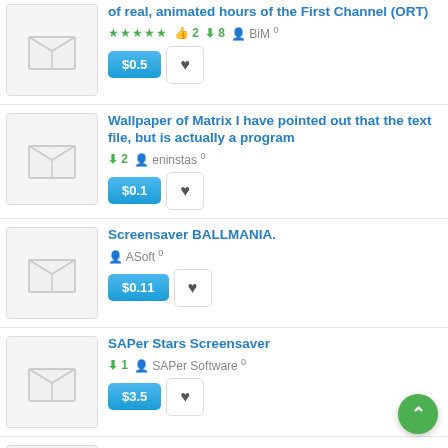of real, animated hours of the First Channel (ORT) — rated 4/5 stars, 2 likes, 8 downloads, user BiM, price $0.5
Wallpaper of Matrix I have pointed out that the text file, but is actually a program — 2 downloads, user eninstas, price $0.1
Screensaver BALLMANIA. — user ASoft, price $0.11
SAPer Stars Screensaver — 1 download, user SAPer Software, price $3.5
Fantastic Women Screensaver (Fantastic Women Screensaver - Erotic)